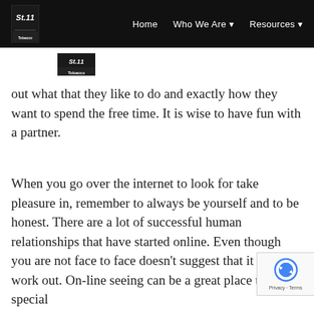Home   Who We Are ▾   Resources ▾
[Figure (logo): Still Tobacco logo badge - small rectangular logo with text]
out what that they like to do and exactly how they want to spend the free time. It is wise to have fun with a partner.
When you go over the internet to look for take pleasure in, remember to always be yourself and to be honest. There are a lot of successful human relationships that have started online. Even though you are not face to face doesn't suggest that it can't work out. On-line seeing can be a great place to meet special